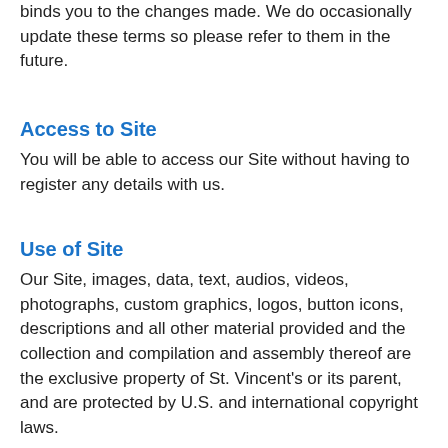binds you to the changes made. We do occasionally update these terms so please refer to them in the future.
Access to Site
You will be able to access our Site without having to register any details with us.
Use of Site
Our Site, images, data, text, audios, videos, photographs, custom graphics, logos, button icons, descriptions and all other material provided and the collection and compilation and assembly thereof are the exclusive property of St. Vincent’s or its parent, and are protected by U.S. and international copyright laws.